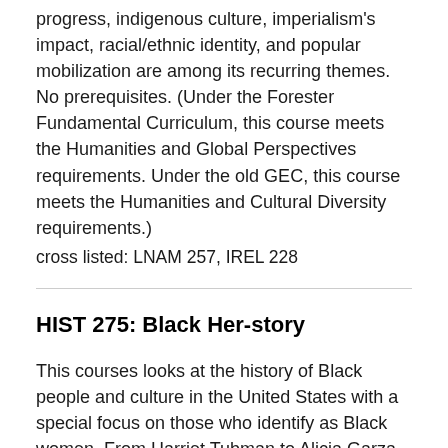progress, indigenous culture, imperialism's impact, racial/ethnic identity, and popular mobilization are among its recurring themes. No prerequisites. (Under the Forester Fundamental Curriculum, this course meets the Humanities and Global Perspectives requirements. Under the old GEC, this course meets the Humanities and Cultural Diversity requirements.)
cross listed: LNAM 257, IREL 228
HIST 275: Black Her-story
This courses looks at the history of Black people and culture in the United States with a special focus on those who identify as Black women. From Harriet Tubman to Alicia Garza, Bessie Smith to Beyonce, this course examines how the intersectional